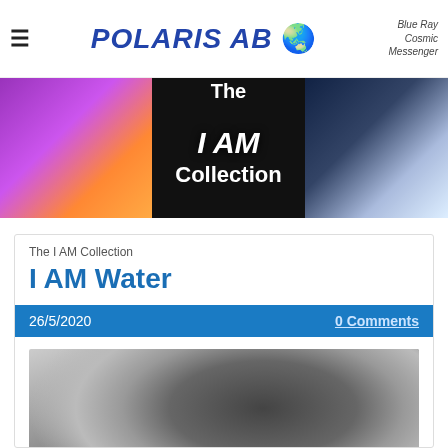POLARIS AB — Blue Ray Cosmic Messenger
[Figure (illustration): Website hero banner with three panels: left panel shows a glowing angel/archangel figure with pink/purple wings, center panel shows colorful rainbow-striped background with 'The I AM Collection' text, right panel shows a glowing human figure with light rays against dark background.]
The I AM Collection
I AM Water
26/5/2020
0 Comments
[Figure (photo): Black and white photograph of a woman with wet hair bending forward, with a cloudy sky background.]